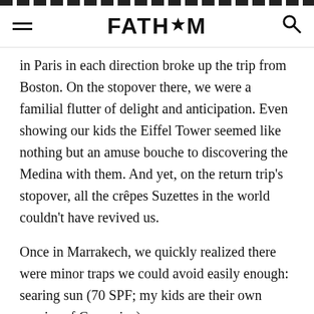FATH*M
in Paris in each direction broke up the trip from Boston. On the stopover there, we were a familial flutter of delight and anticipation. Even showing our kids the Eiffel Tower seemed like nothing but an amuse bouche to discovering the Medina with them. And yet, on the return trip's stopover, all the crêpes Suzettes in the world couldn't have revived us.
Once in Marrakech, we quickly realized there were minor traps we could avoid easily enough: searing sun (70 SPF; my kids are their own species of Caucasian),